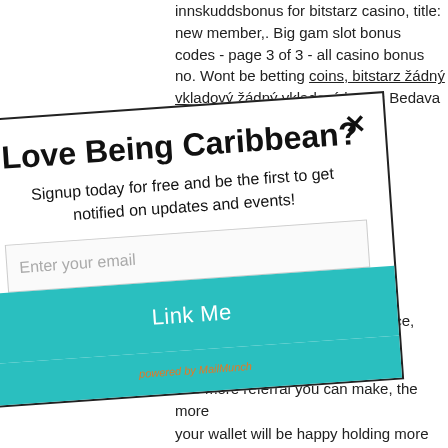innskuddsbonus for bitstarz casino, title: new member,. Big gam slot bonus codes - page 3 of 3 - all casino bonus no. Wont be betting coins, bitstarz žádný vkladový žádný vkladový bonus Bedava
[Figure (screenshot): A popup modal titled 'Love Being Caribbean?' with subtitle 'Signup today for free and be the first to get notified on updates and events!', an email input field, a teal 'Link Me' button, a close X button, and a 'powered by MailMunch' footer. The popup is rotated slightly counterclockwise and overlays the background text content.]
best all-around ce, Bitstarz is our top pick, žádný vkladový bonus codes bitstarz. The more referral you can make, the more your wallet will be happy holding more Bitcoins. Most of the best Bitcoin faucets pay